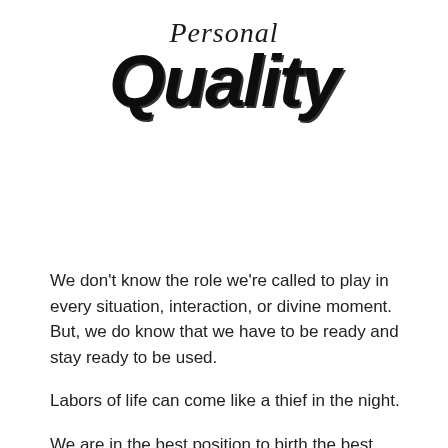Personal Quality
We don't know the role we're called to play in every situation, interaction, or divine moment. But, we do know that we have to be ready and stay ready to be used.
Labors of life can come like a thief in the night.
We are in the best position to birth the best version of ourselves when we have completed the actions that help us maintain our optimal level of energy, peace, and